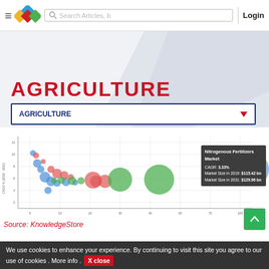≡ [logo] Search Articles, | Login
AGRICULTURE
AGRICULTURE ▼
[Figure (bubble-chart): Bubble chart showing agriculture market data with colored bubbles (blue, red, green) plotted on axes. A tooltip shows 'Nitrogenous Fertilizers Market' with CAGR: 3.33%, Market Size in 2019: $115.42 bn, Market Size in 2031: $129.96 bn]
Source: KnowledgeStore
EXPERIENCE
We use cookies to enhance your experience. By continuing to visit this site you agree to our use of cookies . More info . X close